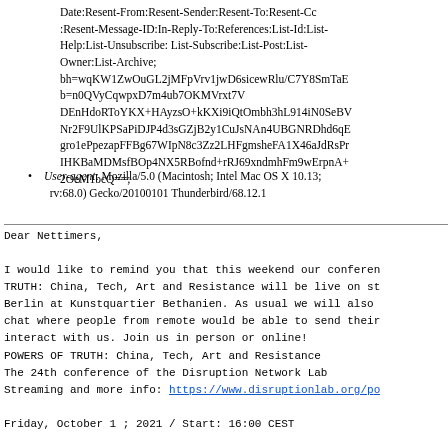Date:Resent-From:Resent-Sender:Resent-To:Resent-Cc:Resent-Message-ID:In-Reply-To:References:List-Id:List-Help:List-Unsubscribe: List-Subscribe:List-Post:List-Owner:List-Archive; bh=wqKW1ZwOuGL2jMFpVrv1jwD6sicewRlu/C7Y8SmTaE... b=n0QVyCqwpxD7m4ub7OKMVrxt7VDEnHdoRToYKX+HAyzsO+kKXi9iQtOmbh3hL914iN0SeBV... Nr2F9UlKPSaPiDJP4d3sGZjB2y1CuJsNAn4UBGNRDhd6qE... gro1ePpezapFFBg67WIpN8c3Zz2LHFgmsheFA1X46aJdRsPr... IHKBaMDMsfBOp4NX5RBofnd+rRJ69xndmhFm9wErpnA+... 2OeM1bcQ==;
User-agent: Mozilla/5.0 (Macintosh; Intel Mac OS X 10.13; rv:68.0) Gecko/20100101 Thunderbird/68.12.1
Dear Nettimers,
I would like to remind you that this weekend our conference TRUTH: China, Tech, Art and Resistance will be live on stage in Berlin at Kunstquartier Bethanien. As usual we will also have a chat where people from remote would be able to send their questions and interact with us. Join us in person or online!
POWERS OF TRUTH: China, Tech, Art and Resistance
The 24th conference of the Disruption Network Lab
Streaming and more info: https://www.disruptionlab.org/po
Friday, October 1 ; 2021 / Start: 16:00 CEST